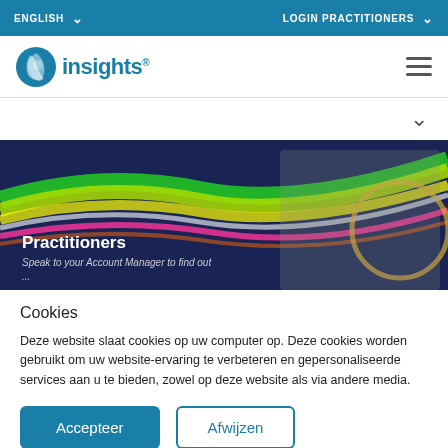ENGLISH  ▾  LOGIN PRACTITIONERS  ▾
[Figure (logo): Insights logo: circular blue swirl icon followed by 'insights' wordmark in blue]
[Figure (photo): Hero banner image: dark blue background with colorful light streaks (green, yellow, red, white) and a smiling woman with glasses on the right. Text overlay: 'Practitioners' and 'Speak to your Account Manager to find out']
Cookies
Deze website slaat cookies op uw computer op. Deze cookies worden gebruikt om uw website-ervaring te verbeteren en gepersonaliseerde services aan u te bieden, zowel op deze website als via andere media.
Accepteer
Afwijzen